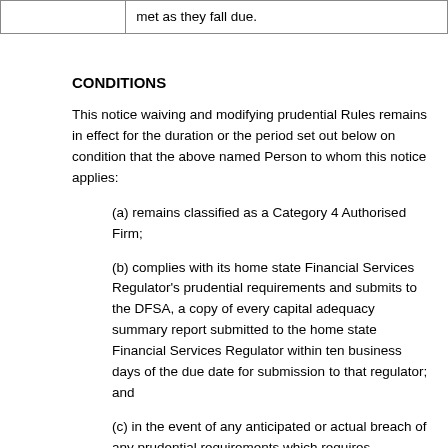|  | met as they fall due. |
CONDITIONS
This notice waiving and modifying prudential Rules remains in effect for the duration or the period set out below on condition that the above named Person to whom this notice applies:
(a) remains classified as a Category 4 Authorised Firm;
(b) complies with its home state Financial Services Regulator's prudential requirements and submits to the DFSA, a copy of every capital adequacy summary report submitted to the home state Financial Services Regulator within ten business days of the due date for submission to that regulator; and
(c) in the event of any anticipated or actual breach of any prudential requirements which requires notification to the home state Financial Services Regulator, provides to the DFSA such notification forthwith with any relevant documents.
If any one or more of the conditions stated above is breached, this notice ceases to have effect forthwith and the Rules